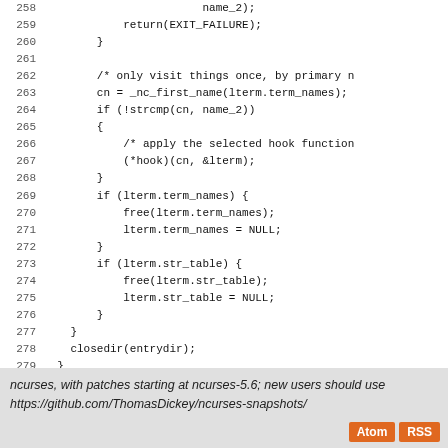[Figure (screenshot): Source code listing lines 258-284 in C, showing a code block with closedir, free, return statements, and curly braces.]
ncurses, with patches starting at ncurses-5.6; new users should use https://github.com/ThomasDickey/ncurses-snapshots/